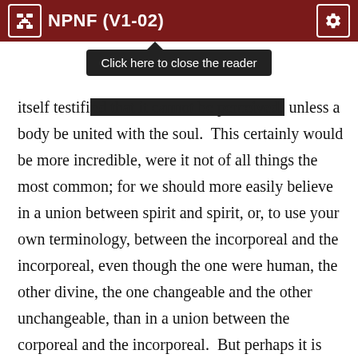NPNF (V1-02)
itself testifi[ed that it cannot be perceived,] unless a body be united with the soul.  This certainly would be more incredible, were it not of all things the most common; for we should more easily believe in a union between spirit and spirit, or, to use your own terminology, between the incorporeal and the incorporeal, even though the one were human, the other divine, the one changeable and the other unchangeable, than in a union between the corporeal and the incorporeal.  But perhaps it is the unprecedented birth of a body from a virgin that staggers you?  But, so far from this being a